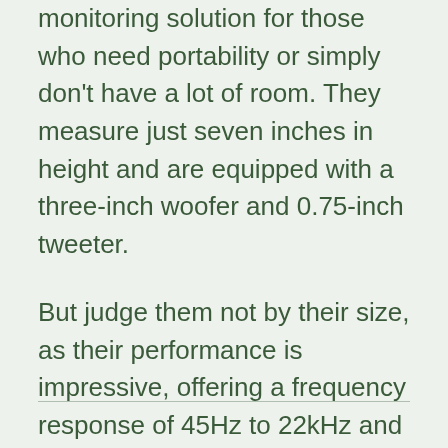monitoring solution for those who need portability or simply don't have a lot of room. They measure just seven inches in height and are equipped with a three-inch woofer and 0.75-inch tweeter.
But judge them not by their size, as their performance is impressive, offering a frequency response of 45Hz to 22kHz and EQ options for further tuning. The only times you might want to pay extra attention is when you have a lot of low-end frequency content in a mix – that's where things start getting muddled.